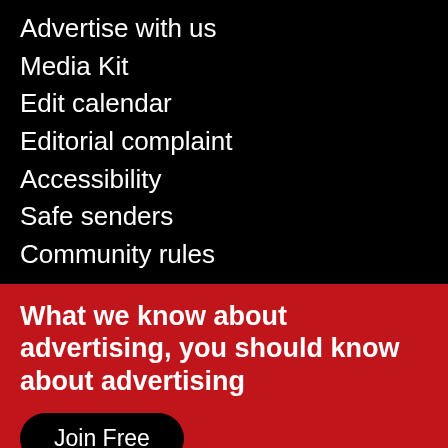Advertise with us
Media Kit
Edit calendar
Editorial complaint
Accessibility
Safe senders
Community rules
What we know about advertising, you should know about advertising
Join Free
PRWeek US
Medical Marketing & Media
Welcome to campaignlive.com. This site uses Cookies to provide you with the best possible experience. To learn more please view our Cookie Notice.
Close